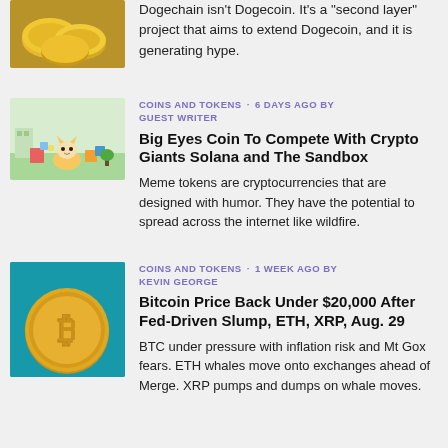[Figure (photo): Partial thumbnail of a Dogecoin/cryptocurrency article showing gold coins; only bottom portion visible]
Dogechain isn't Dogecoin. It's a "second layer" project that aims to extend Dogecoin, and it is generating hype.
COINS AND TOKENS · 6 DAYS AGO BY GUEST WRITER
[Figure (illustration): Colorful cartoon illustration showing a cat and playful scene with blocks and buildings]
Big Eyes Coin To Compete With Crypto Giants Solana and The Sandbox
Meme tokens are cryptocurrencies that are designed with humor. They have the potential to spread across the internet like wildfire.
COINS AND TOKENS · 1 WEEK AGO BY KEVIN GEORGE
[Figure (photo): Photo of a gold Bitcoin coin on teal/turquoise background]
Bitcoin Price Back Under $20,000 After Fed-Driven Slump, ETH, XRP, Aug. 29
BTC under pressure with inflation risk and Mt Gox fears. ETH whales move onto exchanges ahead of Merge. XRP pumps and dumps on whale moves.